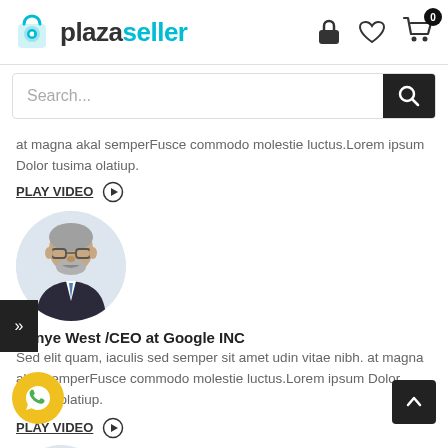plazaseller — logo and navigation header with search bar
at magna akal semperFusce commodo molestie luctus.Lorem ipsum Dolor tusima olatiup.
PLAY VIDEO ▷
[Figure (photo): Circular profile photo of a grey-haired man with glasses and beard wearing a suit]
Kanye West /CEO at Google INC
Sed elit quam, iaculis sed semper sit amet udin vitae nibh. at magna akal semperFusce commodo molestie luctus.Lorem ipsum Dolor tusima olatiup.
PLAY VIDEO ▷
[Figure (photo): Circular profile photo of similar grey-haired man with glasses, partially visible at bottom]
[Figure (logo): WhatsApp icon circle button in yellow/gold at bottom left]
[Figure (other): Back to top arrow button at bottom right]